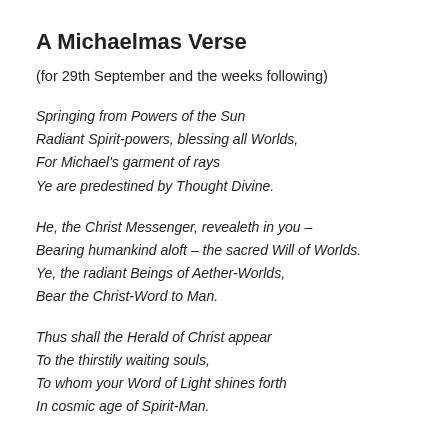A Michaelmas Verse
(for 29th September and the weeks following)
Springing from Powers of the Sun
Radiant Spirit-powers, blessing all Worlds,
For Michael's garment of rays
Ye are predestined by Thought Divine.
He, the Christ Messenger, revealeth in you –
Bearing humankind aloft – the sacred Will of Worlds.
Ye, the radiant Beings of Aether-Worlds,
Bear the Christ-Word to Man.
Thus shall the Herald of Christ appear
To the thirstily waiting souls,
To whom your Word of Light shines forth
In cosmic age of Spirit-Man.